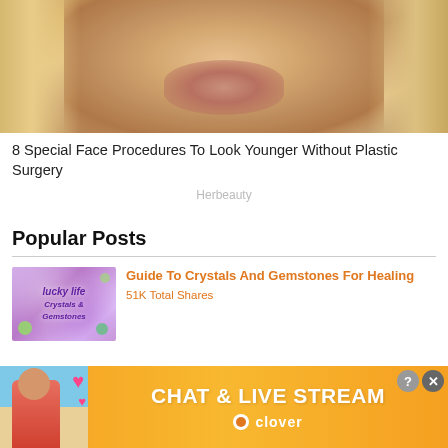[Figure (photo): Close-up photo of a woman's face with blonde hair, showing her nose and lips area with a natural/nude lip color]
8 Special Face Procedures To Look Younger Without Plastic Surgery
Herbeauty
Popular Posts
[Figure (photo): Thumbnail image with colorful crystals and gemstones with decorative text overlay]
Guide To Crystals And Gemstones For Healing
51K Total Shares
[Figure (screenshot): Advertisement banner for CHAT & LIVE STREAM by Clover app, with orange/yellow background, showing a woman on a beach and pink heart emojis]